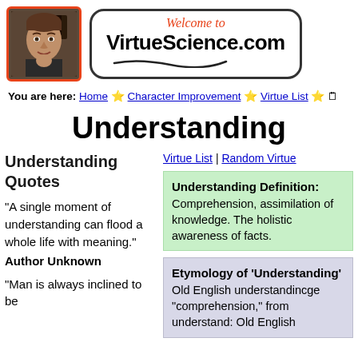[Figure (photo): Header with man's photo (portrait) on left and 'Welcome to VirtueScience.com' logo on right with rounded rectangle border]
You are here: Home ☆ Character Improvement ☆ Virtue List ☆ 🗒
Understanding
Understanding Quotes
Virtue List | Random Virtue
"A single moment of understanding can flood a whole life with meaning."
Author Unknown
Understanding Definition: Comprehension, assimilation of knowledge. The holistic awareness of facts.
Etymology of 'Understanding' Old English understandincge "comprehension," from understand: Old English
"Man is always inclined to be